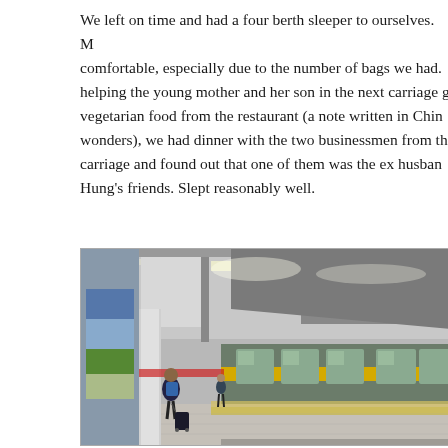We left on time and had a four berth sleeper to ourselves. More comfortable, especially due to the number of bags we had. After helping the young mother and her son in the next carriage get vegetarian food from the restaurant (a note written in Chinese wonders), we had dinner with the two businessmen from the carriage and found out that one of them was the ex husband of Hung's friends. Slept reasonably well.
[Figure (photo): A train station platform with a green and yellow passenger train on the right side. A person with a backpack and rolling luggage walks along the platform toward the train. The station has a covered roof with fluorescent lighting. A colorful mural is visible on the left wall.]